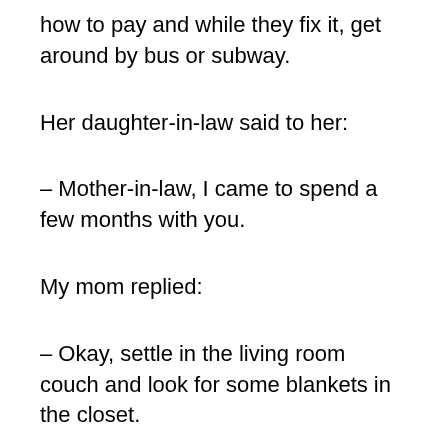how to pay and while they fix it, get around by bus or subway.
Her daughter-in-law said to her:
– Mother-in-law, I came to spend a few months with you.
My mom replied:
– Okay, settle in the living room couch and look for some blankets in the closet.